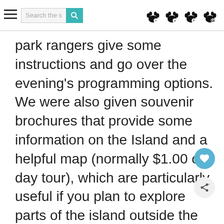Search the s [search button] [paw icons x4]
park rangers give some instructions and go over the evening's programming options. We were also given souvenir brochures that provide some information on the Island and a helpful map (normally $1.00 on day tour), which are particularly useful if you plan to explore parts of the island outside the dock area and Cellhouse.